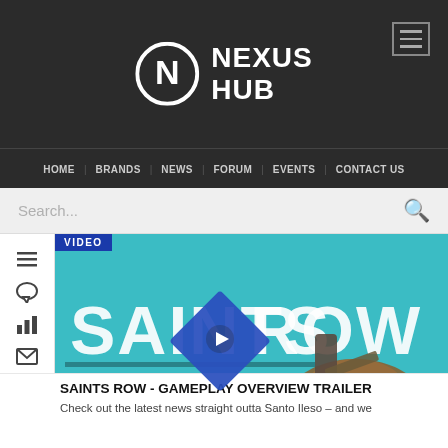[Figure (logo): Nexus Hub logo with circular N emblem and text NEXUS HUB on dark background header]
HOME  BRANDS  NEWS  FORUM  EVENTS  CONTACT US
Search...
[Figure (screenshot): Saints Row Gameplay Overview Trailer video thumbnail showing a character on a large statue with Saints Row text, with a blue diamond play button overlay and VIDEO label]
SAINTS ROW - GAMEPLAY OVERVIEW TRAILER
Check out the latest news straight outta Santo Ileso – and we